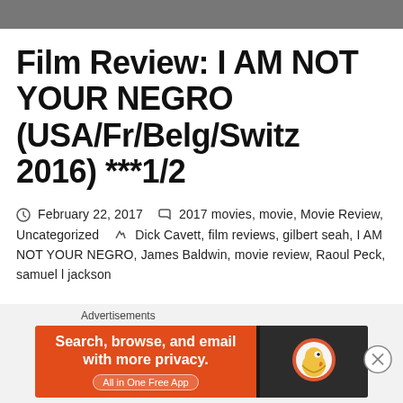Film Review: I AM NOT YOUR NEGRO (USA/Fr/Belg/Switz 2016) ***1/2
February 22, 2017  2017 movies, movie, Movie Review, Uncategorized  Dick Cavett, film reviews, gilbert seah, I AM NOT YOUR NEGRO, James Baldwin, movie review, Raoul Peck, samuel l jackson
Advertisements
[Figure (other): DuckDuckGo advertisement banner: orange background on left with text 'Search, browse, and email with more privacy. All in One Free App', dark right panel with DuckDuckGo logo.]